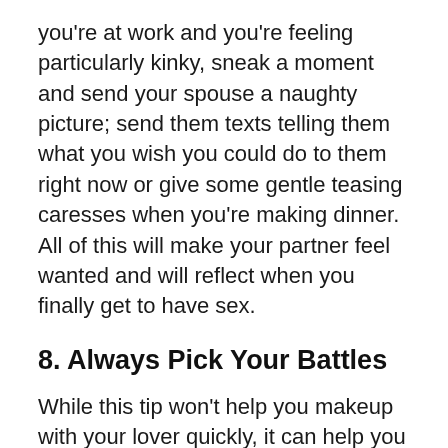you're at work and you're feeling particularly kinky, sneak a moment and send your spouse a naughty picture; send them texts telling them what you wish you could do to them right now or give some gentle teasing caresses when you're making dinner. All of this will make your partner feel wanted and will reflect when you finally get to have sex.
8. Always Pick Your Battles
While this tip won't help you makeup with your lover quickly, it can help you prevent a fight in the first place. Instead of fighting over every little thing that you disagree with your partner over, you should instead try to choose your battles. If you aren't sure what we mean